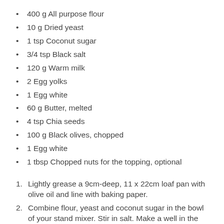400 g All purpose flour
10 g Dried yeast
1 tsp Coconut sugar
3/4 tsp Black salt
120 g Warm milk
2 Egg yolks
1 Egg white
60 g Butter, melted
4 tsp Chia seeds
100 g Black olives, chopped
1 Egg white
1 tbsp Chopped nuts for the topping, optional
Lightly grease a 9cm-deep, 11 x 22cm loaf pan with olive oil and line with baking paper.
Combine flour, yeast and coconut sugar in the bowl of your stand mixer. Stir in salt. Make a well in the centre. Add in milk, egg yolks, egg white and melted butter. Mix on the slow speed until the ingredients roughly